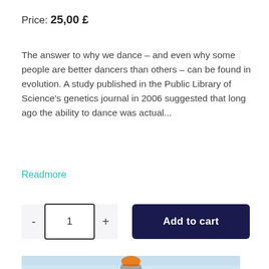Price: 25,00 £
The answer to why we dance – and even why some people are better dancers than others – can be found in evolution. A study published in the Public Library of Science's genetics journal in 2006 suggested that long ago the ability to dance was actual...
Readmore
[Figure (screenshot): Quantity selector with minus button, input box showing 1, plus button, and a dark navy Add to cart button]
[Figure (photo): Partial photo of a construction worker wearing an orange helmet, light blue sky background]